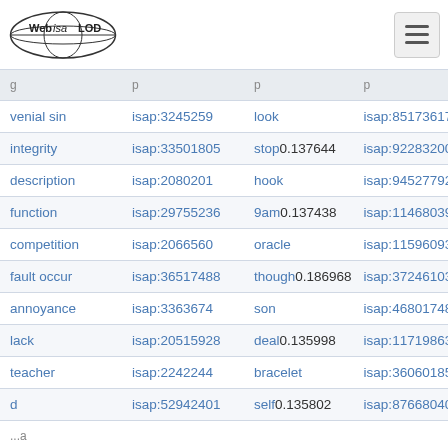Web isa LOD
| term | isap_id_1 | related_term | isap_id_2 |
| --- | --- | --- | --- |
| venial sin | isap:3245259 | look | isap:85173617 |
| integrity | isap:33501805 | stop 0.137644 | isap:92283200 |
| description | isap:2080201 | hook | isap:94527792 |
| function | isap:29755236 | 9am 0.137438 | isap:11468039 |
| competition | isap:2066560 | oracle | isap:11596093 |
| fault occur | isap:36517488 | though 0.186968 | isap:37246103 |
| annoyance | isap:3363674 | son | isap:46801748 |
| lack | isap:20515928 | deal 0.135998 | isap:11719863 |
| teacher | isap:2242244 | bracelet | isap:36060185 |
| d | isap:52942401 | self 0.135802 | isap:87668040 |